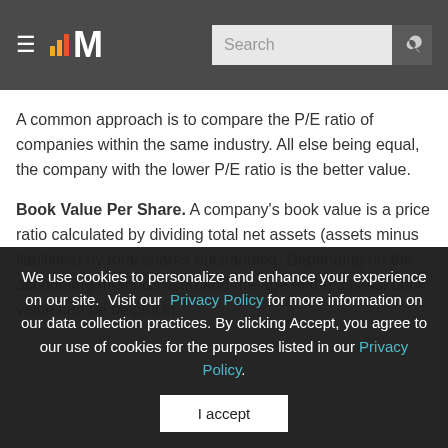Macrotrends — Search
A common approach is to compare the P/E ratio of companies within the same industry. All else being equal, the company with the lower P/E ratio is the better value.
Book Value Per Share. A company's book value is a price ratio calculated by dividing total net assets (assets minus liabilities) by total shares outstanding. Depending on the accounting methods used and the age of the assets, book value can be helpful in
We use cookies to personalize and enhance your experience on our site. Visit our Privacy Policy for more information on our data collection practices. By clicking Accept, you agree to our use of cookies for the purposes listed in our Privacy Policy. I accept